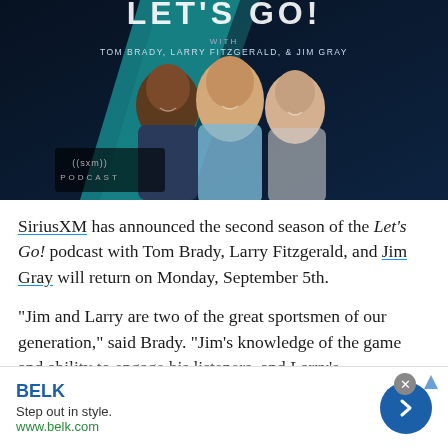[Figure (photo): SiriusXM podcast promotional image showing 'Let's Go!' with Tom Brady, Larry Fitzgerald, and Jim Gray. Dark blue background with the three men smiling, SXM Podcast logo visible in bottom-left.]
SiriusXM has announced the second season of the Let's Go! podcast with Tom Brady, Larry Fitzgerald, and Jim Gray will return on Monday, September 5th.
"Jim and Larry are two of the great sportsmen of our generation," said Brady. "Jim's knowledge of the game and ability to engage his listeners, and Larry's
[Figure (other): Advertisement banner for BELK. Text reads: BELK, Step out in style., www.belk.com. Blue circular arrow button on right. Close (x) button and ad info arrow icon at top-right.]